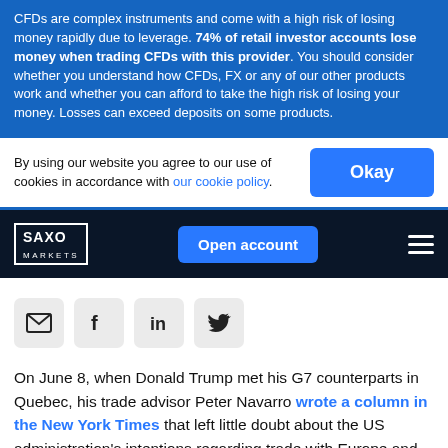CFDs are complex instruments and come with a high risk of losing money rapidly due to leverage. 74% of retail investor accounts lose money when trading CFDs with this provider. You should consider whether you understand how CFDs, FX or any of our other products work and whether you can afford to take the high risk of losing your money. Losses can exceed deposits on some products.
By using our website you agree to our use of cookies in accordance with our cookie policy.
[Figure (logo): Saxo Markets logo with Open account button and hamburger menu on dark navy navigation bar]
[Figure (infographic): Social share icons: email envelope, Facebook F, LinkedIn in, Twitter bird]
On June 8, when Donald Trump met his G7 counterparts in Quebec, his trade advisor Peter Navarro wrote a column in the New York Times that left little doubt about the US administration's intentions regarding trade with Europe and Germany in particular. It is very clear that tariffs on auto imports, notably ones targeting German carmakers, are